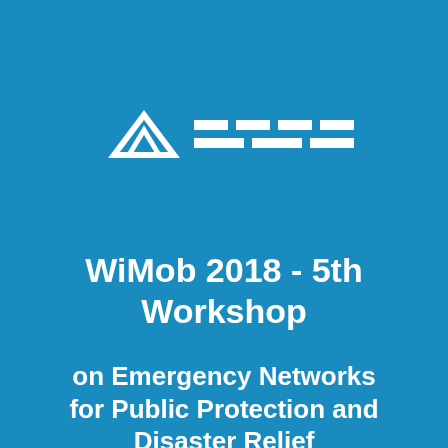[Figure (logo): IEEE logo consisting of a diamond/tent chevron shape and four horizontal dashed bars in white on blue background]
WiMob 2018 - 5th Workshop
on Emergency Networks for Public Protection and Disaster Relief